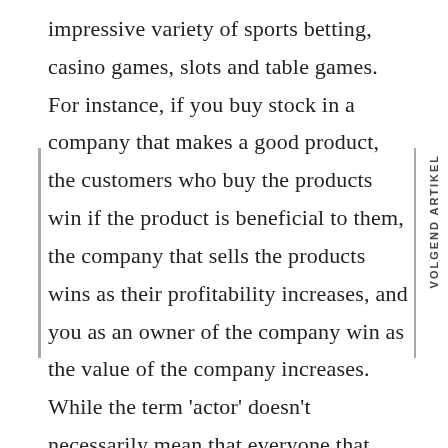impressive variety of sports betting, casino games, slots and table games. For instance, if you buy stock in a company that makes a good product, the customers who buy the products win if the product is beneficial to them, the company that sells the products wins as their profitability increases, and you as an owner of the company win as the value of the company increases. While the term 'actor' doesn't necessarily mean that everyone that stars in a movie or a series is going to be a jerk, it obviously doesn't mean that they're going to be a decent person either. Because these devices dominate the global market in terms of usage